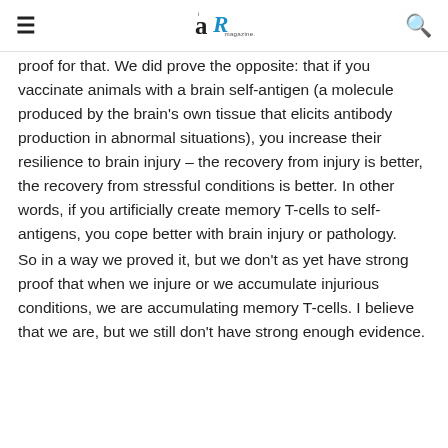≡  [ar magazine logo]  🔍
proof for that. We did prove the opposite: that if you vaccinate animals with a brain self-antigen (a molecule produced by the brain's own tissue that elicits antibody production in abnormal situations), you increase their resilience to brain injury – the recovery from injury is better, the recovery from stressful conditions is better. In other words, if you artificially create memory T-cells to self-antigens, you cope better with brain injury or pathology.
So in a way we proved it, but we don't as yet have strong proof that when we injure or we accumulate injurious conditions, we are accumulating memory T-cells. I believe that we are, but we still don't have strong enough evidence.